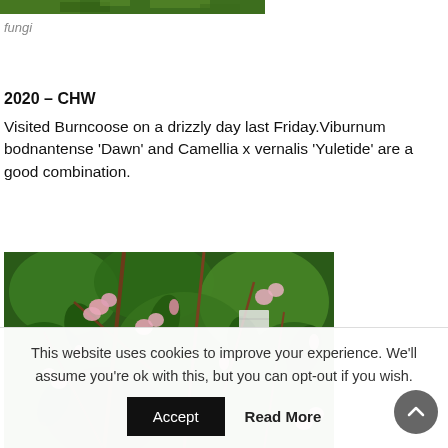[Figure (photo): Partial top edge of a photo showing green forest/fungi scene]
fungi
2020 – CHW
Visited Burncoose on a drizzly day last Friday.Viburnum bodnantense 'Dawn' and Camellia x vernalis 'Yuletide' are a good combination.
[Figure (photo): Close-up photo of a flowering shrub with pink flowers and green leaves, likely Camellia x vernalis 'Yuletide']
This website uses cookies to improve your experience. We'll assume you're ok with this, but you can opt-out if you wish.